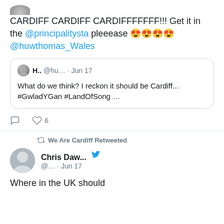[Figure (screenshot): Partial Twitter/social media profile avatar at top of page]
CARDIFF CARDIFF CARDIFFFFFFF!!! Get it in the @principalitysta pleeease 😍😍😍😍 @huwthomas_Wales
H.. @hu… · Jun 17
What do we think? I reckon it should be Cardiff...
#GwladYGan #LandOfSong …
♡ 6
We Are Cardiff Retweeted
Chris Daw... @... · Jun 17
Where in the UK should